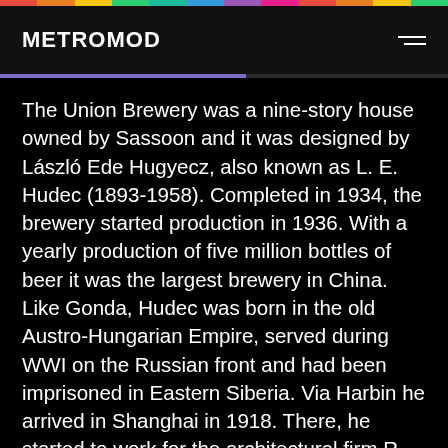METROMOD
The Union Brewery was a nine-story house owned by Sassoon and it was designed by László Ede Hugyecz, also known as L. E. Hudec (1893-1958). Completed in 1934, the brewery started production in 1936. With a yearly production of five million bottles of beer it was the largest brewery in China. Like Gonda, Hudec was born in the old Austro-Hungarian Empire, served during WWI on the Russian front and had been imprisoned in Eastern Siberia. Via Harbin he arrived in Shanghai in 1918. There, he started to work for the architectural firm R. A. Curry before he opened his own business in 1925 at the Bund. Today, the few preserved structures of the Union Brewery are part of the Meijing Park. In 2002, due to the ongoing Suzhou Creek Rehabilitation